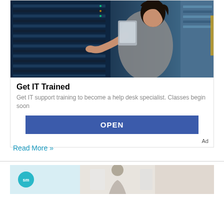[Figure (photo): Woman in a server room holding a tablet and pointing at server rack equipment, blue-toned data center environment]
Get IT Trained
Get IT support training to become a help desk specialist. Classes begin soon
OPEN
Ad
Read More »
[Figure (photo): Partial view of a second article card with an 'sm' logo badge and a person in a light background]